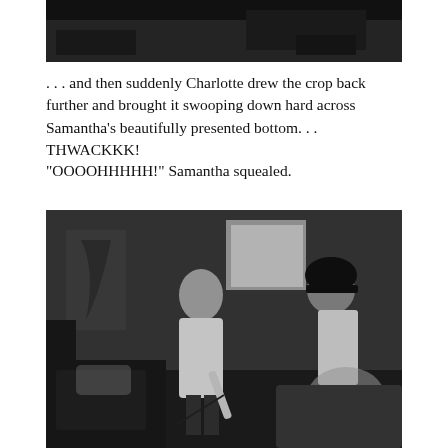[Figure (photo): Black and white photograph cropped at top, showing a dark indoor scene, partial view]
. . . and then suddenly Charlotte drew the crop back further and brought it swooping down hard across Samantha’s beautifully presented bottom. . . THWACKKK!
“OOOOHHHH!” Samantha squealed.
[Figure (photo): Black and white photograph showing two women in an indoor room setting, one in a white shirt holding a riding crop, the other bent over wearing a riding helmet]